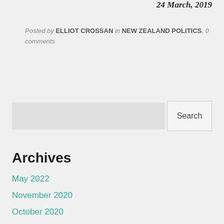24 March, 2019
Posted by ELLIOT CROSSAN in NEW ZEALAND POLITICS, 0 comments
Search
Archives
May 2022
November 2020
October 2020
May 2019